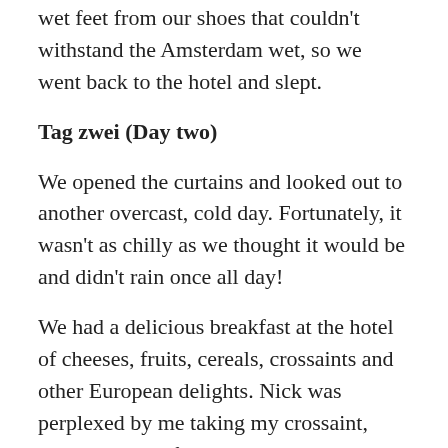wet feet from our shoes that couldn't withstand the Amsterdam wet, so we went back to the hotel and slept.
Tag zwei (Day two)
We opened the curtains and looked out to another overcast, cold day. Fortunately, it wasn't as chilly as we thought it would be and didn't rain once all day!
We had a delicious breakfast at the hotel of cheeses, fruits, cereals, crossaints and other European delights. Nick was perplexed by me taking my crossaint, cutting it in half and pouring some chocolate hail and then eating the crossaint with it's delicious chocolate centre. Weird kiwi 😉